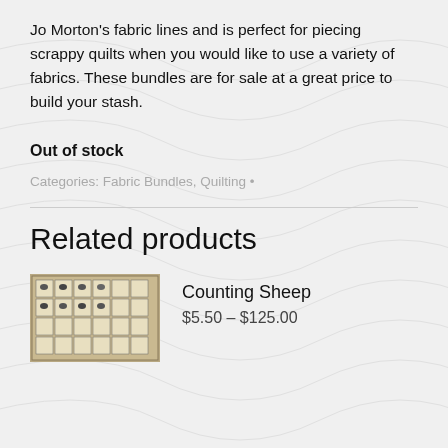Jo Morton's fabric lines and is perfect for piecing scrappy quilts when you would like to use a variety of fabrics. These bundles are for sale at a great price to build your stash.
Out of stock
Categories: Fabric Bundles, Quilting •
Related products
[Figure (photo): Product image of Counting Sheep quilt showing a quilt with sheep blocks arranged in a grid pattern]
Counting Sheep
$5.50 – $125.00